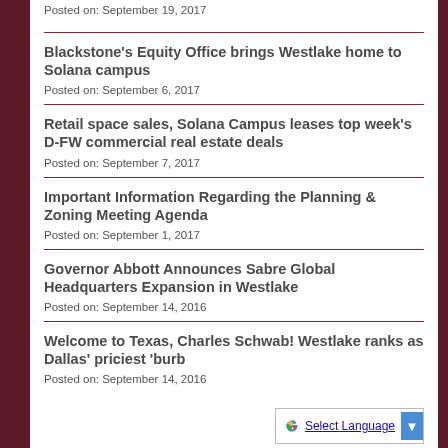Posted on: September 19, 2017
Blackstone's Equity Office brings Westlake home to Solana campus
Posted on: September 6, 2017
Retail space sales, Solana Campus leases top week's D-FW commercial real estate deals
Posted on: September 7, 2017
Important Information Regarding the Planning & Zoning Meeting Agenda
Posted on: September 1, 2017
Governor Abbott Announces Sabre Global Headquarters Expansion in Westlake
Posted on: September 14, 2016
Welcome to Texas, Charles Schwab! Westlake ranks as Dallas' priciest 'burb
Posted on: September 14, 2016